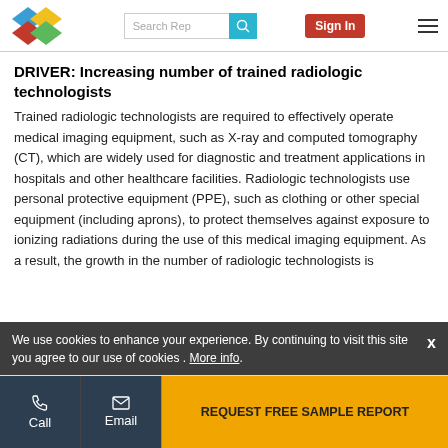Search Rep | Sign In
DRIVER: Increasing number of trained radiologic technologists
Trained radiologic technologists are required to effectively operate medical imaging equipment, such as X-ray and computed tomography (CT), which are widely used for diagnostic and treatment applications in hospitals and other healthcare facilities. Radiologic technologists use personal protective equipment (PPE), such as clothing or other special equipment (including aprons), to protect themselves against exposure to ionizing radiations during the use of this medical imaging equipment. As a result, the growth in the number of radiologic technologists is
We use cookies to enhance your experience. By continuing to visit this site you agree to our use of cookies . More info.
Call | Email | REQUEST FREE SAMPLE REPORT